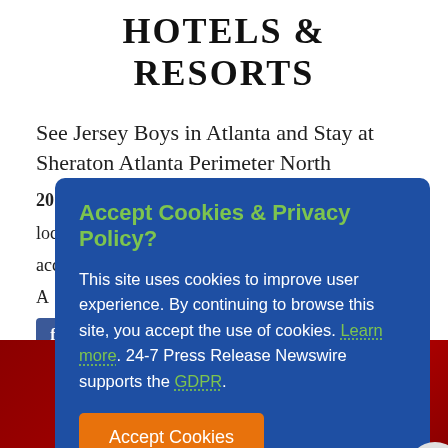HOTELS & RESORTS
See Jersey Boys in Atlanta and Stay at Sheraton Atlanta Perimeter North
2015-09-17 | Sheraton Atlanta Perimeter North, located near Dunwoody, Georgia, offers deluxe accommodations...
[Figure (screenshot): Cookie and Privacy Policy overlay dialog on a blue background with orange Accept Cookies button and green links. Contains social share icons (Facebook, Twitter, LinkedIn, Pinterest). Text: Accept Cookies & Privacy Policy? This site uses cookies to improve user experience. By continuing to browse this site, you accept the use of cookies. Learn more. 24-7 Press Release Newswire supports the GDPR.]
[Figure (photo): Bottom portion of a hotel sign with dark red/maroon and gold colors]